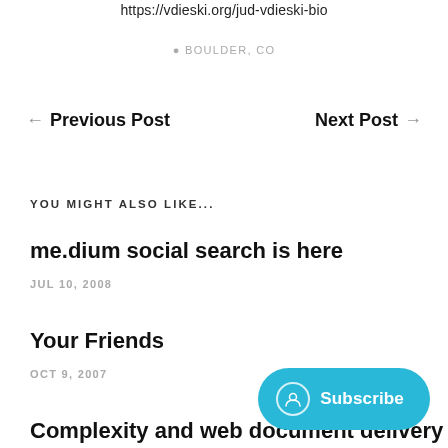https://vdieski.org/jud-vdieski-bio
📍 BOULDER, CO
← Previous Post
Next Post →
YOU MIGHT ALSO LIKE...
me.dium social search is here
JUL 10, 2008
Your Friends
OCT 9, 2007
Complexity and web document delivery